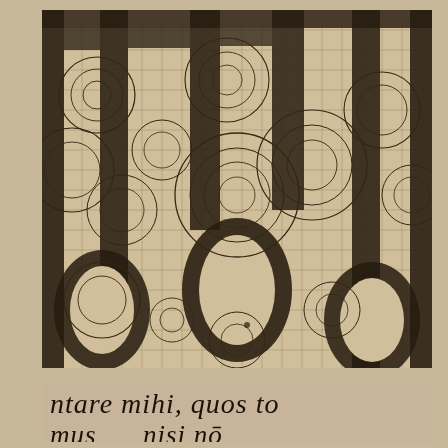[Figure (illustration): Antique geometric illustration showing an abstract pattern of bold vertical dark bars interwoven with a grid of fine horizontal and vertical lines, overlaid with multiple concentric and intersecting circles of various sizes. The design is printed in dark ink on aged yellowish-cream paper, creating a complex interlocking pattern suggesting architectural or decorative ornament.]
ntare mihi, quos to... mus nisi no...